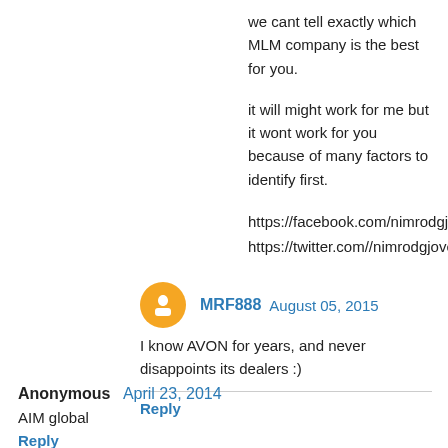we cant tell exactly which MLM company is the best for you.
it will might work for me but it wont work for you because of many factors to identify first.
https://facebook.com/nimrodgjoven
https://twitter.com//nimrodgjoven
MRF888  August 05, 2015
I know AVON for years, and never disappoints its dealers :)
Reply
Anonymous  April 23, 2014
AIM global
Reply